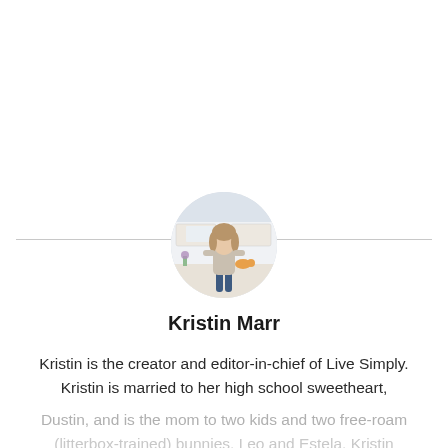[Figure (photo): Circular profile photo of Kristin Marr standing in a bright kitchen]
Kristin Marr
Kristin is the creator and editor-in-chief of Live Simply. Kristin is married to her high school sweetheart, Dustin, and is the mom to two kids and two free-roam (litterbox-trained) bunnies, Leo and Estela. Kristin